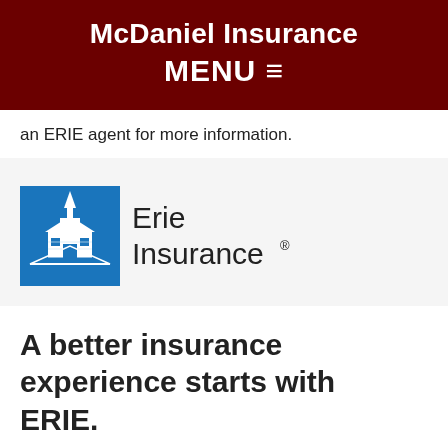McDaniel Insurance
MENU ≡
an ERIE agent for more information.
[Figure (logo): Erie Insurance logo — blue building/house icon on left, 'Erie Insurance' text with registered trademark symbol on right]
A better insurance experience starts with ERIE.